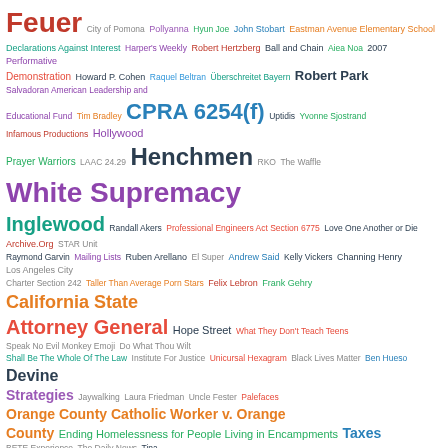[Figure (infographic): Word cloud featuring legal and political terms in various colors and font sizes. Largest terms include 'White Supremacy', 'National Lawyers Guild', 'Government Code 54952.2', 'LAMC 49.5.5', 'LADOT', 'Henchmen', 'Inglewood', 'Attorney General', 'California State', 'CD1', and many others in varying colors (teal, orange, purple, green, red, blue, pink, olive, dark green, gray).]